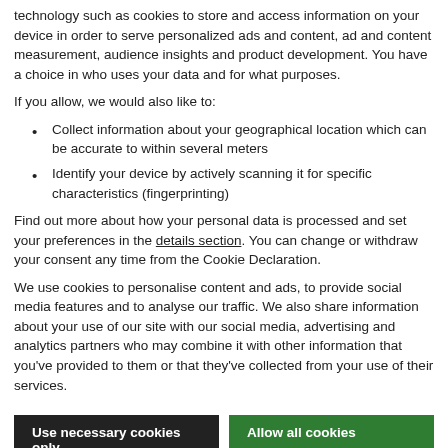technology such as cookies to store and access information on your device in order to serve personalized ads and content, ad and content measurement, audience insights and product development. You have a choice in who uses your data and for what purposes.
If you allow, we would also like to:
Collect information about your geographical location which can be accurate to within several meters
Identify your device by actively scanning it for specific characteristics (fingerprinting)
Find out more about how your personal data is processed and set your preferences in the details section. You can change or withdraw your consent any time from the Cookie Declaration.
We use cookies to personalise content and ads, to provide social media features and to analyse our traffic. We also share information about your use of our site with our social media, advertising and analytics partners who may combine it with other information that you've provided to them or that they've collected from your use of their services.
Use necessary cookies only
Allow all cookies
Show details
capture form for users to fill out and a CTA button. Some lead capture pages have both, and some have forms hidden behind their CTA buttons.